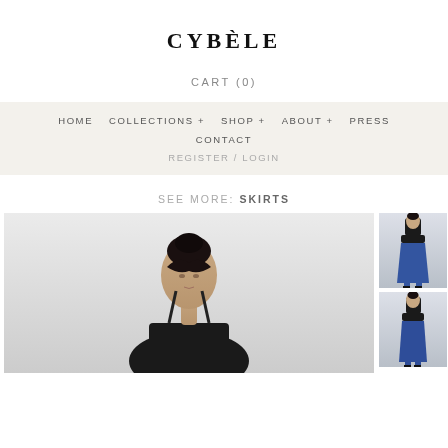CYBÈLE
CART (0)
HOME   COLLECTIONS +   SHOP +   ABOUT +   PRESS   CONTACT   REGISTER / LOGIN
SEE MORE: SKIRTS
[Figure (photo): Fashion photo of female model wearing black top, facing forward, close-up from waist up with dark hair pulled back]
[Figure (photo): Thumbnail: model wearing black top and blue/cobalt midi skirt, full body side view]
[Figure (photo): Thumbnail: model wearing black top and blue/cobalt midi skirt, slightly different angle]